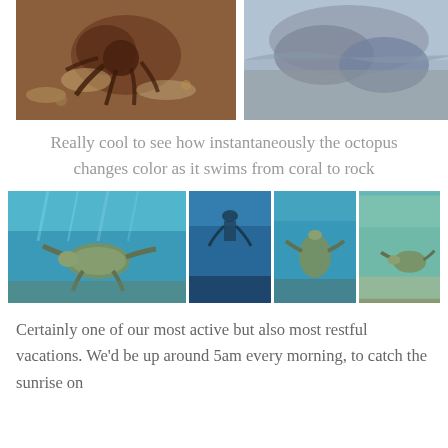[Figure (photo): Two side-by-side underwater photos: left shows a brown/reddish octopus on coral, right shows close-up of grey rock or coral texture]
Really cool to see how instantaneously the octopus changes color as it swims from coral to rock
[Figure (photo): Four underwater photos showing sea turtles swimming: large photo of turtle near surface with light reflections, snorkeler photo, turtle swimming in blue water, turtle near sandy bottom]
Certainly one of our most active but also most restful vacations. We'd be up around 5am every morning, to catch the sunrise on the...